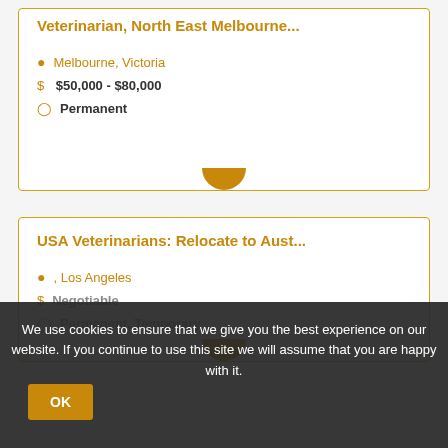Veterinarian, North East Melbourne...
Melbourne, Victoria
$50,000 - $80,000
Permanent
USA Veterinarians: Relocate to Aust...
, Los Angeles
Negotiable
Permanent, Temporary
We use cookies to ensure that we give you the best experience on our website. If you continue to use this site we will assume that you are happy with it.